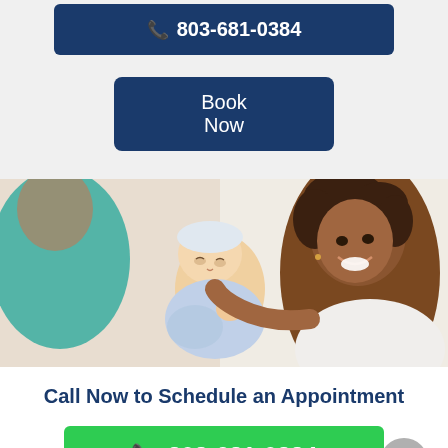803-681-0384
Book Now
[Figure (photo): A smiling mother holding a newborn baby in a hospital setting, with a healthcare provider visible from behind in the foreground wearing teal scrubs.]
Call Now to Schedule an Appointment
803-681-0384